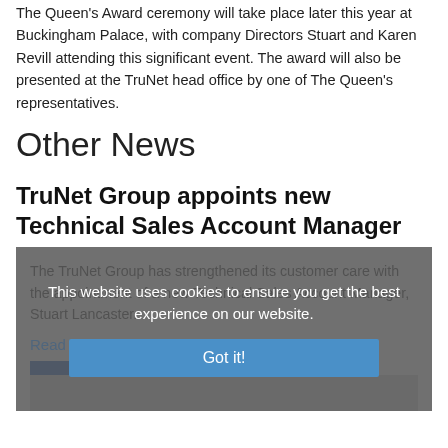The Queen's Award ceremony will take place later this year at Buckingham Palace, with company Directors Stuart and Karen Revill attending this significant event. The award will also be presented at the TruNet head office by one of The Queen's representatives.
Other News
TruNet Group appoints new Technical Sales Account Manager
The TruNet Group has strengthened its customer care with the appointment of a new Technical Sales Account Manager, Stuart Lancaster.
Read More
This website uses cookies to ensure you get the best experience on our website.
Got it!